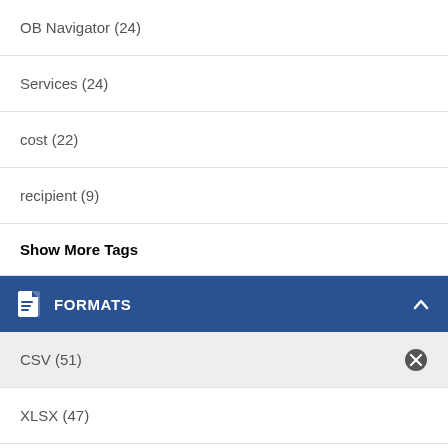OB Navigator (24)
Services (24)
cost (22)
recipient (9)
Show More Tags
FORMATS
CSV (51)
XLSX (47)
PDF (3)
LICENSES
License not specified (46)